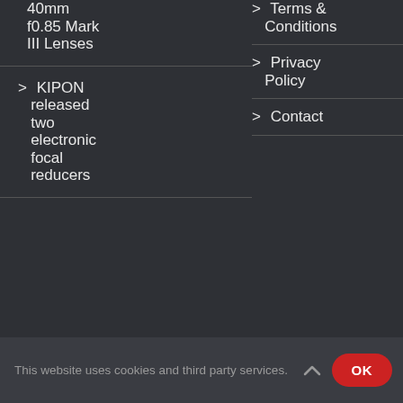40mm f0.85 Mark III Lenses
KIPON released two electronic focal reducers
Terms & Conditions
Privacy Policy
Contact
This website uses cookies and third party services.